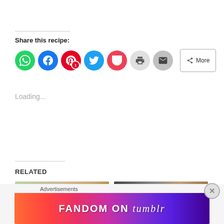Share this recipe:
[Figure (infographic): Social share buttons: WhatsApp (green circle), Facebook (blue circle), Pinterest (red circle with badge '1'), Twitter (light blue circle), Pocket (red circle), Print (gray circle), Email (gray circle), and a 'More' button]
Loading...
RELATED
[Figure (photo): Colorful sprinkle cookies on a white plate with green background]
[Figure (photo): Chocolate cookies with nuts on a dark surface next to a milk bottle]
Advertisements
[Figure (infographic): Fandom on Tumblr advertisement banner with colorful gradient background]